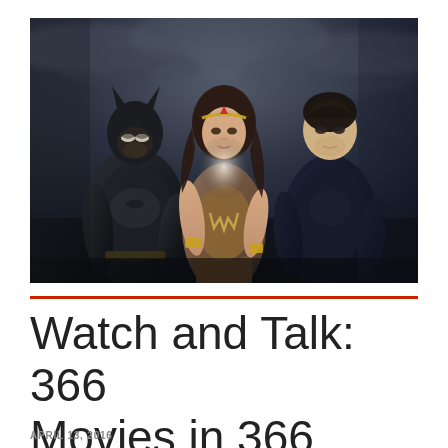[Figure (photo): Promotional photo of three DC Comics superheroes: Batman in dark armored suit on the left, Wonder Woman in gold and brown costume in the center with a bright light behind her, and Superman in dark blue suit with red cape on the right. Stormy dark sky background.]
Watch and Talk: 366 Movies in 366 Days
APRIL 13, 2016